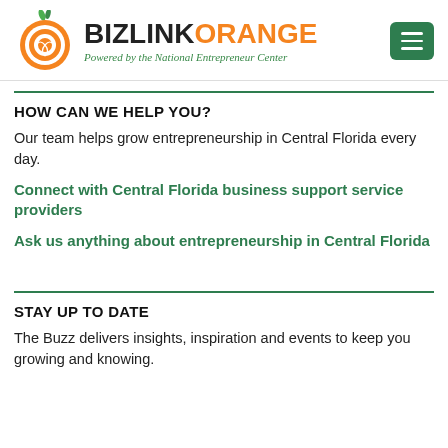[Figure (logo): BizLink Orange logo with orange circular icon and text 'BIZLINK ORANGE - Powered by the National Entrepreneur Center']
HOW CAN WE HELP YOU?
Our team helps grow entrepreneurship in Central Florida every day.
Connect with Central Florida business support service providers
Ask us anything about entrepreneurship in Central Florida
STAY UP TO DATE
The Buzz delivers insights, inspiration and events to keep you growing and knowing.